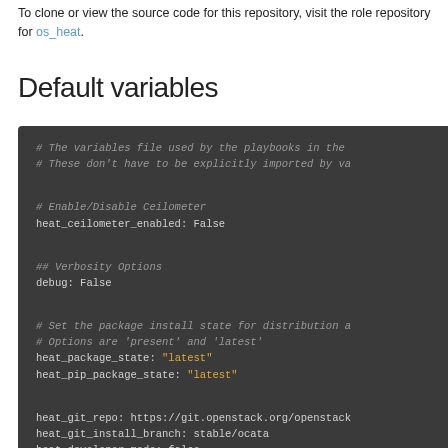To clone or view the source code for this repository, visit the role repository for os_heat.
Default variables
[Figure (screenshot): Dark-themed code block showing YAML configuration with comments, variables including heat_ceilometer_enabled: False, debug: False, heat_package_state: "latest", heat_pip_package_state: "latest", heat_git_repo, heat_git_install_branch: stable/ocata, heat_developer_mode: false]